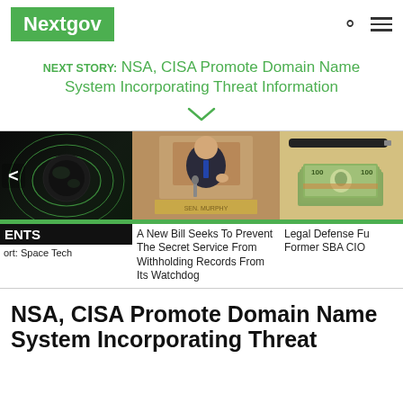Nextgov
NEXT STORY: NSA, CISA Promote Domain Name System Incorporating Threat Information
[Figure (photo): Space technology dark image with satellite/globe graphic and green contour lines, with left navigation arrow]
[Figure (photo): Senator at Senate hearing desk with nameplate, gesturing with thumb up, wearing suit and blue tie, wood-paneled background]
[Figure (photo): Stack of US hundred dollar bills with a pen on a desk]
ort: Space Tech
A New Bill Seeks To Prevent The Secret Service From Withholding Records From Its Watchdog
Legal Defense Fu Former SBA CIO
NSA, CISA Promote Domain Name System Incorporating Threat